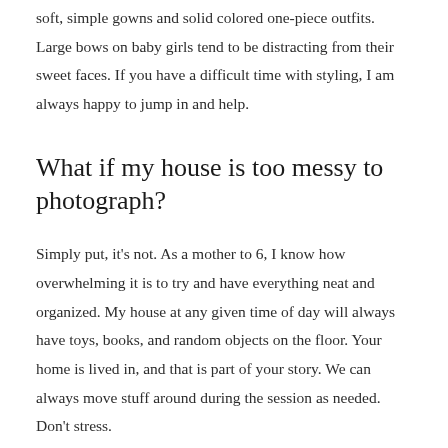soft, simple gowns and solid colored one-piece outfits. Large bows on baby girls tend to be distracting from their sweet faces. If you have a difficult time with styling, I am always happy to jump in and help.
What if my house is too messy to photograph?
Simply put, it's not. As a mother to 6, I know how overwhelming it is to try and have everything neat and organized. My house at any given time of day will always have toys, books, and random objects on the floor. Your home is lived in, and that is part of your story. We can always move stuff around during the session as needed. Don't stress.